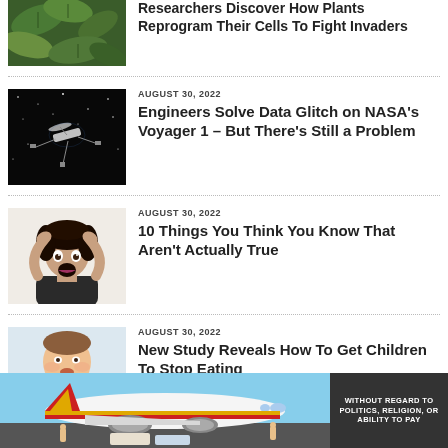[Figure (photo): Green plant leaves close-up photo]
Researchers Discover How Plants Reprogram Their Cells To Fight Invaders
[Figure (photo): NASA Voyager 1 spacecraft in dark space]
AUGUST 30, 2022
Engineers Solve Data Glitch on NASA's Voyager 1 – But There's Still a Problem
[Figure (photo): Surprised young woman with hands on head]
AUGUST 30, 2022
10 Things You Think You Know That Aren't Actually True
[Figure (photo): Overweight child eating snacks]
AUGUST 30, 2022
New Study Reveals How To Get Children To Stop Eating
[Figure (photo): Colorful airplane on tarmac advertisement banner]
WITHOUT REGARD TO POLITICS, RELIGION, OR ABILITY TO PAY